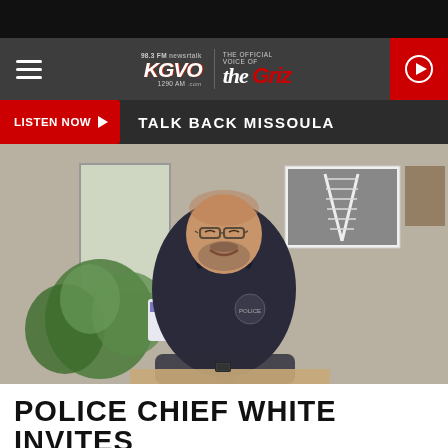KGVO Radio - Talk Back Missoula
[Figure (screenshot): KGVO radio station website header with logo, hamburger menu, and red play button]
LISTEN NOW  TALK BACK MISSOULA
[Figure (photo): Police Chief White sitting at a desk smiling, wearing a dark polo shirt, with plants and a black and white railroad photo on the wall in the background]
POLICE CHIEF WHITE INVITES